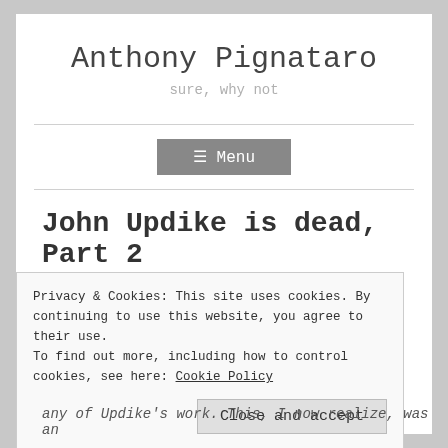Anthony Pignataro
sure, why not
☰ Menu
John Updike is dead, Part 2
JANUARY 28, 2009  ~  ANTHONYPIGNATARO
Privacy & Cookies: This site uses cookies. By continuing to use this website, you agree to their use.
To find out more, including how to control cookies, see here: Cookie Policy
Close and accept
any of Updike's work. This, I now realize, was an